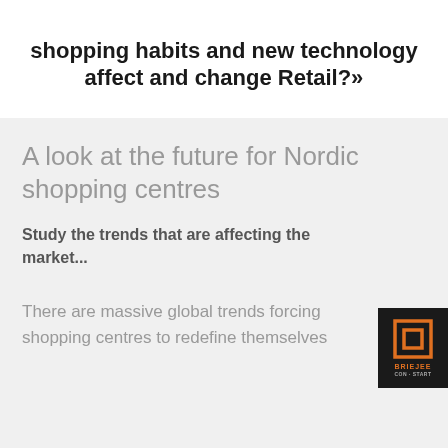shopping habits and new technology affect and change Retail?»
A look at the future for Nordic shopping centres
Study the trends that are affecting the market...
[Figure (logo): Dark square logo with orange square icon and text below]
There are massive global trends forcing shopping centres to redefine themselves